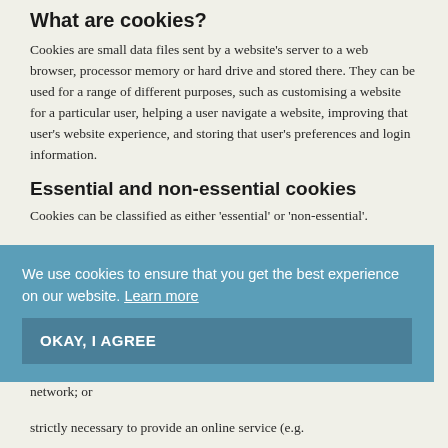What are cookies?
Cookies are small data files sent by a website's server to a web browser, processor memory or hard drive and stored there. They can be used for a range of different purposes, such as customising a website for a particular user, helping a user navigate a website, improving that user's website experience, and storing that user's preferences and login information.
Essential and non-essential cookies
Cookies can be classified as either 'essential' or 'non-essential'.
We use cookies to ensure that you get the best experience on our website. Learn more
Essential cookies are those that do either:
used solely to facilitate the transmission of communications over a network; or
strictly necessary to provide an online service (e.g.